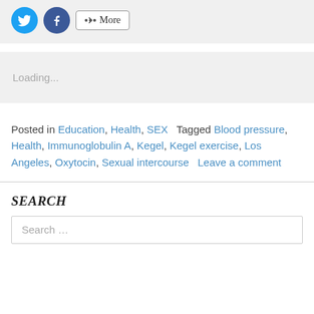[Figure (other): Social share buttons: Twitter (blue circle with bird icon), Facebook (blue circle with f icon), and a More button with share icon]
Loading...
Posted in Education, Health, SEX   Tagged Blood pressure, Health, Immunoglobulin A, Kegel, Kegel exercise, Los Angeles, Oxytocin, Sexual intercourse   Leave a comment
SEARCH
Search ...